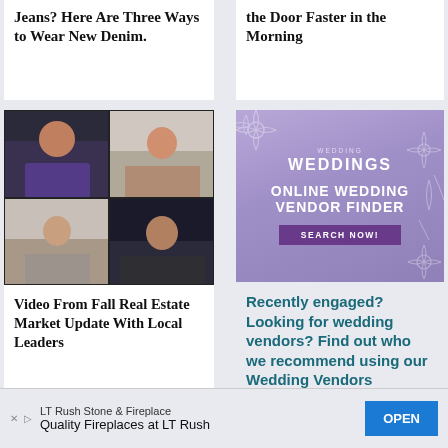Jeans? Here Are Three Ways to Wear New Denim.
the Door Faster in the Morning
[Figure (photo): Video conference screenshot showing 6 participants in a virtual meeting grid]
Video From Fall Real Estate Market Update With Local Leaders
[Figure (infographic): Purple wedding vendor finder advertisement with text: WEDDING WEDDINGS, ONLINE WEDDING VENDOR FINDER, SEARCH NOW!]
Recently engaged? Looking for wedding vendors? Find out who we recommend using our Wedding Vendors
LT Rush Stone & Fireplace
Quality Fireplaces at LT Rush